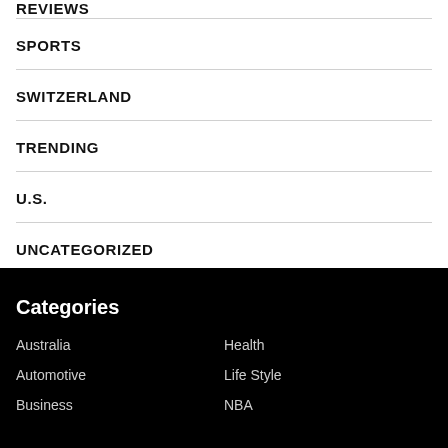REVIEWS
SPORTS
SWITZERLAND
TRENDING
U.S.
UNCATEGORIZED
Categories
Australia
Health
Automotive
Life Style
Business
NBA